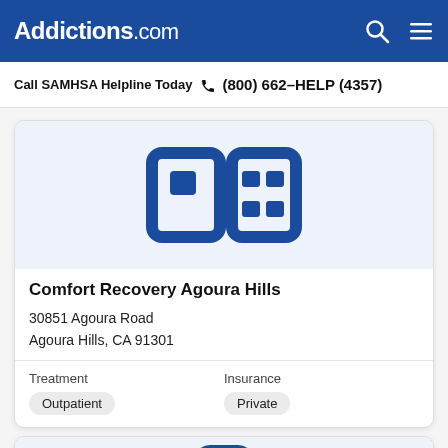Addictions.com
Call SAMHSA Helpline Today (800) 662-HELP (4357)
[Figure (logo): Addictions.com placeholder logo — blue icon with bracket/square shapes on light blue background]
Comfort Recovery Agoura Hills
30851 Agoura Road
Agoura Hills, CA 91301
Treatment
Outpatient
Insurance
Private
[Figure (logo): Partial view of second facility card with blue icon at bottom]